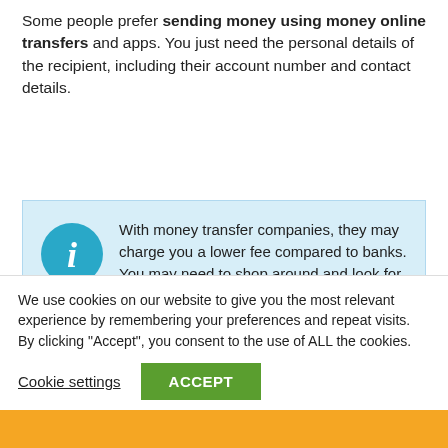Some people prefer sending money using money online transfers and apps. You just need the personal details of the recipient, including their account number and contact details.
With money transfer companies, they may charge you a lower fee compared to banks. You may need to shop around and look for the best rates if you are to send money by schedule or if it is frequently. Also, check the conversion rates and where your receiver will get more.
We use cookies on our website to give you the most relevant experience by remembering your preferences and repeat visits. By clicking “Accept”, you consent to the use of ALL the cookies.
Cookie settings
ACCEPT